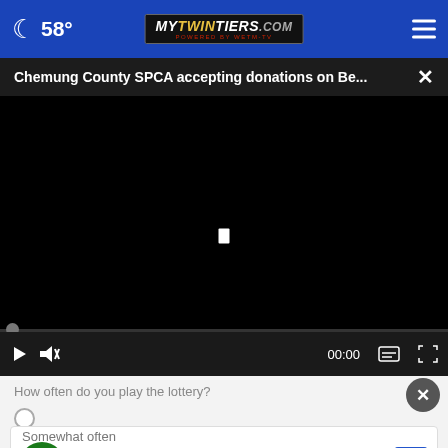58° MyTwinTiers.com
Chemung County SPCA accepting donations on Be... ×
[Figure (screenshot): Black video player area with a small white play/loading icon centered, progress bar at bottom with dot indicator, and playback controls bar showing play button, mute icon, 00:00 timestamp, and fullscreen icons on dark background]
How often do you play the lottery?
Ashburn OPEN | 7:30AM–6PM
43781 Parkhurst Plaza, Ashburn
Somewhat often